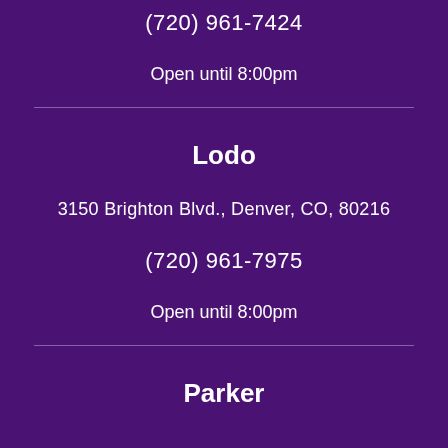(720) 961-7424
Open until 8:00pm
Lodo
3150 Brighton Blvd., Denver, CO, 80216
(720) 961-7975
Open until 8:00pm
Parker